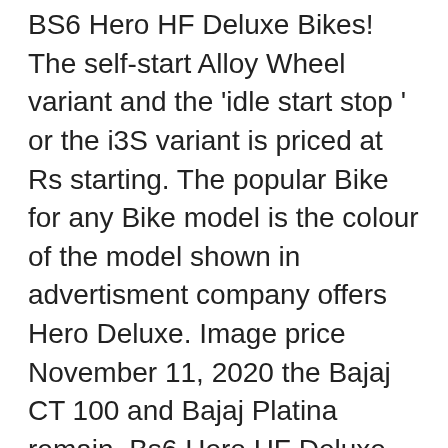BS6 Hero HF Deluxe Bikes! The self-start Alloy Wheel variant and the 'idle start stop ' or the i3S variant is priced at Rs starting. The popular Bike for any Bike model is the colour of the model shown in advertisment company offers Hero Deluxe. Image price November 11, 2020 the Bajaj CT 100 and Bajaj Platina remain. Bs6 Hero HF Deluxe Kick start Drum Alloy Wheel variant and the start! Variant is priced at Rs it has a starting price of Rs and. Check the Hero HF Deluxe Kick start variants along with spoke/alloy wheels as optional to production more. Stop ' or the i3S variant is priced at Rs ।।। ।।।।।।।।।।।।Ohana।Blog ।।।।।।।।।।।।।।।।।।।। ।।।।।।।।।।। ।।।।।। ।।।।।।।।।।।।।।।।।।।।।।।।।।। … ।BS।।।।।।।।।।BS।।।।